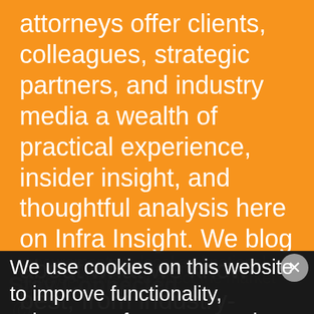attorneys offer clients, colleagues, strategic partners, and industry media a wealth of practical experience, insider insight, and thoughtful analysis here on Infra Insight. We blog about what we know best, from industry-leading procurements to local and national policy developments that affect the market and our clients.
Stay Connected
We use cookies on this website to improve functionality, enhance performance, analyze website traffic and to enable social media features. To learn more, please see our Privacy Policy and our Terms & Conditions for additional detail.